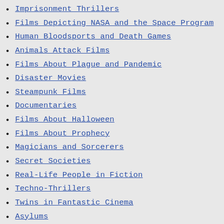Imprisonment Thrillers
Films Depicting NASA and the Space Program
Human Bloodsports and Death Games
Animals Attack Films
Films About Plague and Pandemic
Disaster Movies
Steampunk Films
Documentaries
Films About Halloween
Films About Prophecy
Magicians and Sorcerers
Secret Societies
Real-Life People in Fiction
Techno-Thrillers
Twins in Fantastic Cinema
Asylums
Possession Films
Films About Imaginary and Magical Lands
Religion in Fantastic Cinema
Romantic Comedies